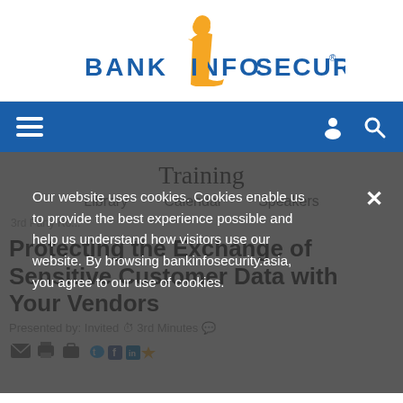[Figure (logo): BankInfoSecurity logo with orange stylized 'i' and blue text 'BANKINFO SECURITY®']
Navigation bar with hamburger menu, user icon, and search icon on blue background
Training
Library   Calendar   Speakers
3rd Party Ro...
Protecting the Exchange of Sensitive Customer Data with Your Vendors
Presented by: Invited  ⏱ 3rd Minutes  💬
Our website uses cookies. Cookies enable us to provide the best experience possible and help us understand how visitors use our website. By browsing bankinfosecurity.asia, you agree to our use of cookies.
[Figure (infographic): Social sharing icons row: email, print, briefcase, Twitter, Facebook, LinkedIn, star/bookmark]